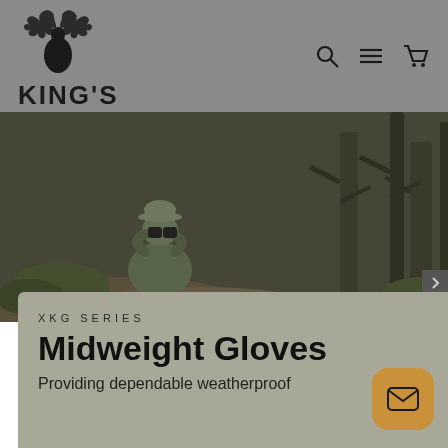KING'S
[Figure (photo): Hunter sitting on rocks in a forest, using binoculars, wearing a green jacket and hat, surrounded by trees and vegetation]
XKG SERIES
Midweight Gloves
Providing dependable weatherproof